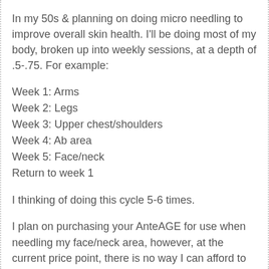In my 50s & planning on doing micro needling to improve overall skin health. I'll be doing most of my body, broken up into weekly sessions, at a depth of .5-.75. For example:
Week 1: Arms
Week 2: Legs
Week 3: Upper chest/shoulders
Week 4: Ab area
Week 5: Face/neck
Return to week 1
I thinking of doing this cycle 5-6 times.
I plan on purchasing your AnteAGE for use when needling my face/neck area, however, at the current price point, there is no way I can afford to use the product over the rest of my body for a full 5-6 sessions.